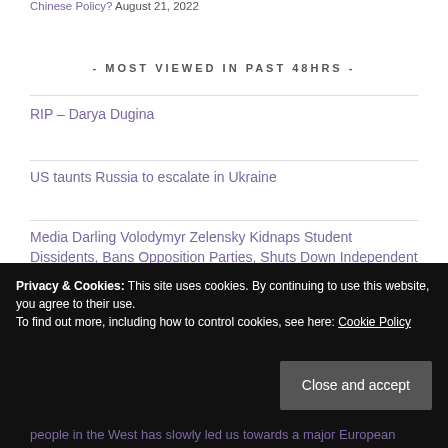Chinese Policy? August 21, 2022
- MOST VIEWED IN PAST 48HRS -
RIP – Darya Dugina
US taunts Russia to escalate in Ukraine
Media Darling Volodymyr Zelensky Kidnaps Student Dissidents, Bans Opposition Parties, Shuts Down Independent Media, Commits Egregious War Crimes and Imposes Regressive Labor Laws
Privacy & Cookies: This site uses cookies. By continuing to use this website, you agree to their use. To find out more, including how to control cookies, see here: Cookie Policy
people in the West has slowly led us towards a major European